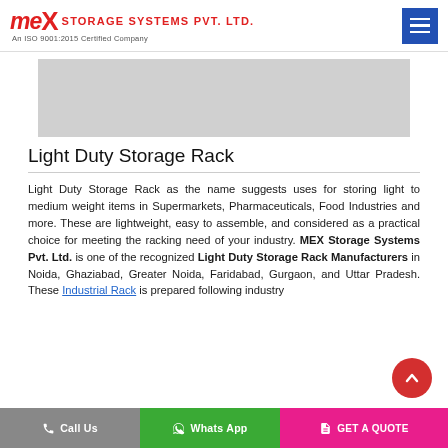MEX STORAGE SYSTEMS PVT. LTD. — An ISO 9001:2015 Certified Company
[Figure (photo): Product image placeholder (gray rectangle)]
Light Duty Storage Rack
Light Duty Storage Rack as the name suggests uses for storing light to medium weight items in Supermarkets, Pharmaceuticals, Food Industries and more. These are lightweight, easy to assemble, and considered as a practical choice for meeting the racking need of your industry. MEX Storage Systems Pvt. Ltd. is one of the recognized Light Duty Storage Rack Manufacturers in Noida, Ghaziabad, Greater Noida, Faridabad, Gurgaon, and Uttar Pradesh. These Industrial Rack is prepared following industry
Call Us | Whats App | GET A QUOTE